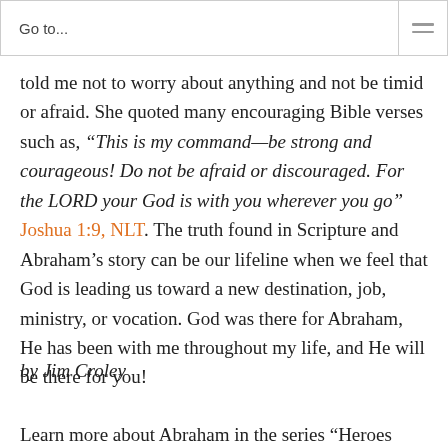Go to...
told me not to worry about anything and not be timid or afraid. She quoted many encouraging Bible verses such as, “This is my command—be strong and courageous! Do not be afraid or discouraged. For the LORD your God is with you wherever you go” Joshua 1:9, NLT. The truth found in Scripture and Abraham’s story can be our lifeline when we feel that God is leading us toward a new destination, job, ministry, or vocation. God was there for Abraham, He has been with me throughout my life, and He will be there for you!
by Jim Croley
Learn more about Abraham in the series “Heroes